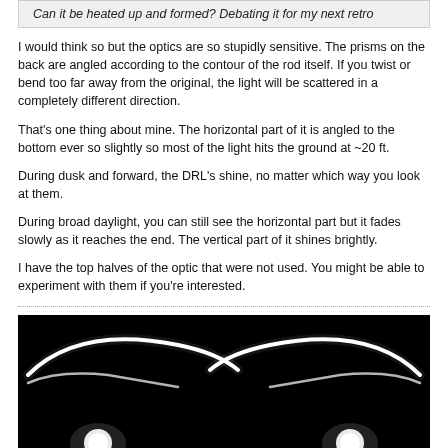Can it be heated up and formed? Debating it for my next retro
I would think so but the optics are so stupidly sensitive. The prisms on the back are angled according to the contour of the rod itself. If you twist or bend too far away from the original, the light will be scattered in a completely different direction.
That's one thing about mine. The horizontal part of it is angled to the bottom ever so slightly so most of the light hits the ground at ~20 ft.
During dusk and forward, the DRL's shine, no matter which way you look at them.
During broad daylight, you can still see the horizontal part but it fades slowly as it reaches the end. The vertical part of it shines brightly.
I have the top halves of the optic that were not used. You might be able to experiment with them if you're interested.
[Figure (photo): Dark photo showing two car DRL (daytime running light) light strips glowing white against a black background, with a boomerang/curved shape, and two round fog lights visible at the bottom.]